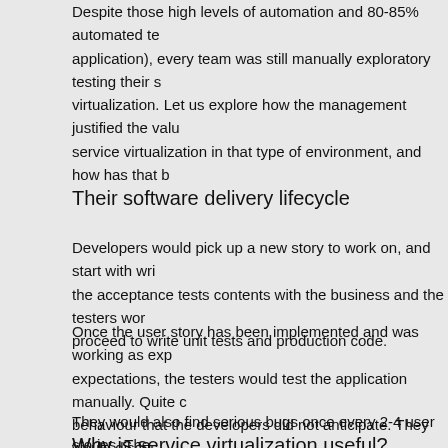Despite those high levels of automation and 80-85% automated test coverage per application), every team was still manually exploratory testing their service virtualization. Let us explore how the management justified the value of service virtualization in that type of environment, and how has that b
Their software delivery lifecycle
Developers would pick up a new story to work on, and start with writing the acceptance tests contents with the business and the testers wor proceed to write unit tests and production code.
Once the user story has been implemented and was working as exp expectations, the testers would test the application manually. Quite behaviour that the developers did not anticipate. They would discus changes were required or a new story needed to be raised to tackle
They would also find serious bugs once every 2-4 user stories. The production would be so high that it easily justified having an extra pe manual exploratory testing.
Why is service virtualization useful?